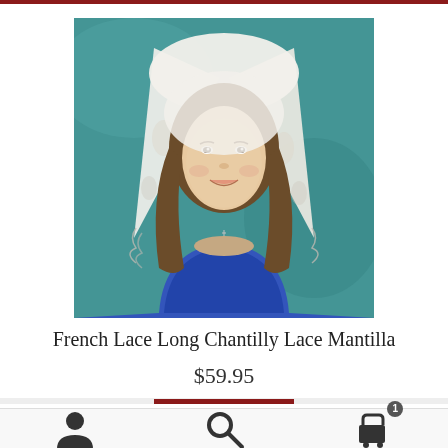[Figure (photo): A young woman wearing a white French lace Chantilly mantilla veil over her head, dressed in a blue top, photographed against a teal/turquoise background.]
French Lace Long Chantilly Lace Mantilla
$59.95